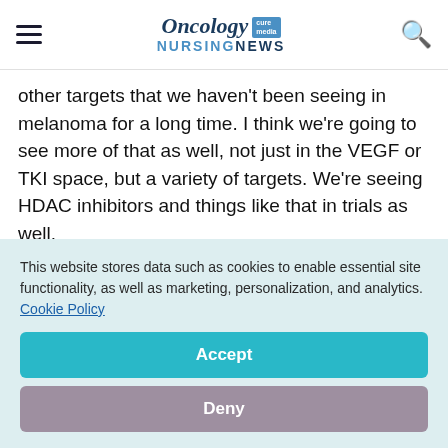Oncology Nursing News
other targets that we haven't been seeing in melanoma for a long time. I think we're going to see more of that as well, not just in the VEGF or TKI space, but a variety of targets. We're seeing HDAC inhibitors and things like that in trials as well.
This website stores data such as cookies to enable essential site functionality, as well as marketing, personalization, and analytics. Cookie Policy
Accept
Deny